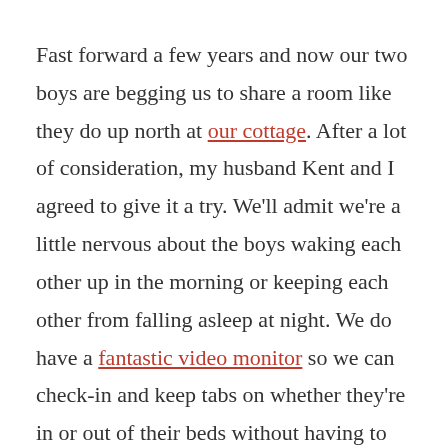Fast forward a few years and now our two boys are begging us to share a room like they do up north at our cottage. After a lot of consideration, my husband Kent and I agreed to give it a try. We'll admit we're a little nervous about the boys waking each other up in the morning or keeping each other from falling asleep at night. We do have a fantastic video monitor so we can check-in and keep tabs on whether they're in or out of their beds without having to open the door. That ought to help. We figure worse case though we can always separate them back into their own rooms if it doesn't work out.